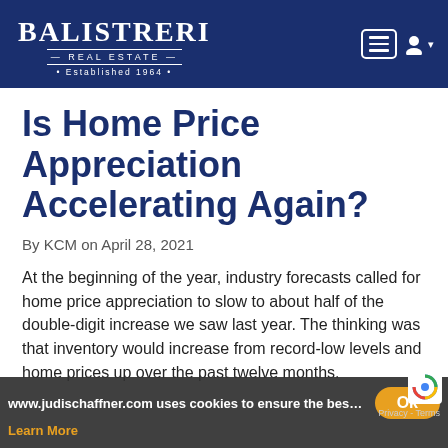Balistreri Real Estate · Established 1964
Is Home Price Appreciation Accelerating Again?
By KCM on April 28, 2021
At the beginning of the year, industry forecasts called for home price appreciation to slow to about half of the double-digit increase we saw last year. The thinking was that inventory would increase from record-low levels and home prices up over the past twelve months.
www.judischaffner.com uses cookies to ensure the best exp
Ok
Learn More